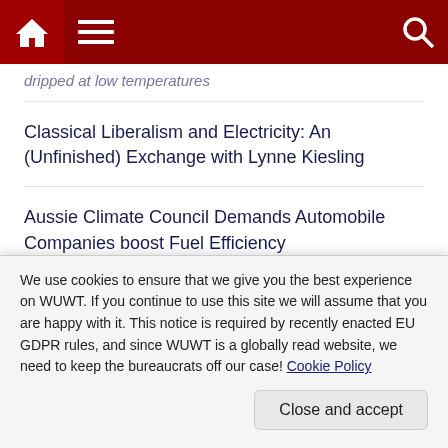WUWT navigation bar with home, menu, and search icons
…dripped at low temperatures
Classical Liberalism and Electricity: An (Unfinished) Exchange with Lynne Kiesling
Aussie Climate Council Demands Automobile Companies boost Fuel Efficiency
The “Coming Climate Anarchy”… Run Away!!!
…between Problems of Environmental Research…
We use cookies to ensure that we give you the best experience on WUWT. If you continue to use this site we will assume that you are happy with it. This notice is required by recently enacted EU GDPR rules, and since WUWT is a globally read website, we need to keep the bureaucrats off our case! Cookie Policy
Close and accept